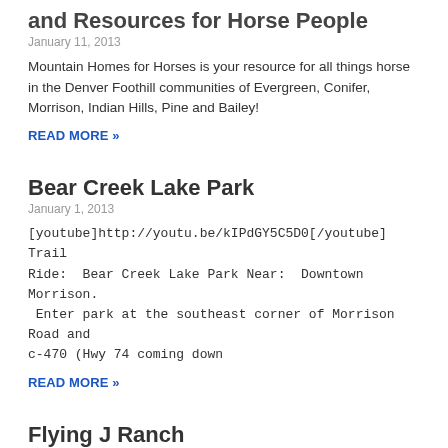and Resources for Horse People
January 11, 2013
Mountain Homes for Horses is your resource for all things horse in the Denver Foothill communities of Evergreen, Conifer, Morrison, Indian Hills, Pine and Bailey!
READ MORE »
Bear Creek Lake Park
January 1, 2013
[youtube]http://youtu.be/kIPdGY5C5D0[/youtube] Trail Ride:  Bear Creek Lake Park Near:  Downtown Morrison.  Enter park at the southeast corner of Morrison Road and c-470 (Hwy 74 coming down
READ MORE »
Flying J Ranch
January 1, 2013
[youtube]http://youtu.be/aqcDonEV5Xo[/youtube] Trail